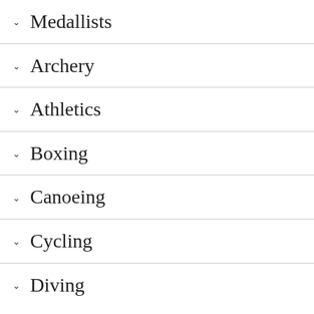∨ Medallists
∨ Archery
∨ Athletics
∨ Boxing
∨ Canoeing
∨ Cycling
∨ Diving